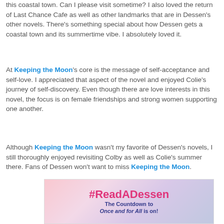this coastal town.  Can I please visit sometime?  I also loved the return of Last Chance Cafe as well as other landmarks that are in Dessen's other novels.  There's something special about how Dessen gets a coastal town and its summertime vibe.  I absolutely loved it.
At Keeping the Moon's core is the message of self-acceptance and self-love.  I appreciated that aspect of the novel and enjoyed Colie's journey of self-discovery.  Even though there are love interests in this novel, the focus is on female friendships and strong women supporting one another.
Although Keeping the Moon wasn't my favorite of Dessen's novels, I still thoroughly enjoyed revisiting Colby as well as Colie's summer there.  Fans of Dessen won't want to miss Keeping the Moon.
[Figure (infographic): #ReadADessen banner — The Countdown to Once and for All is on!]